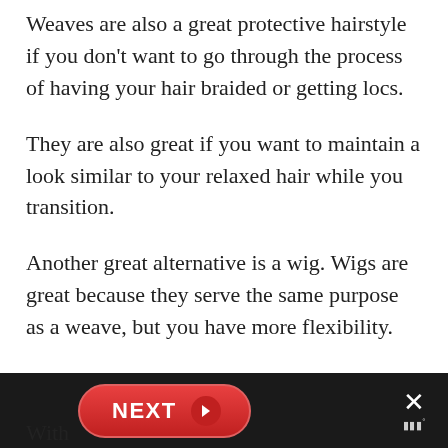Weaves are also a great protective hairstyle if you don't want to go through the process of having your hair braided or getting locs.
They are also great if you want to maintain a look similar to your relaxed hair while you transition.
Another great alternative is a wig. Wigs are great because they serve the same purpose as a weave, but you have more flexibility.
NEXT >
With a wig